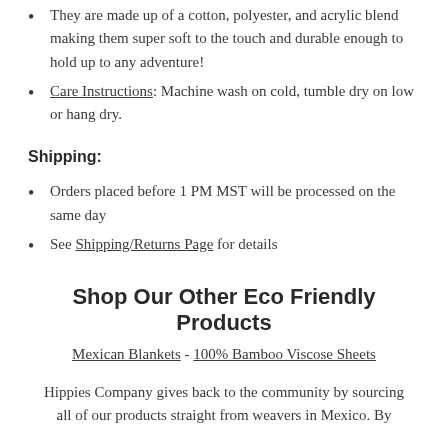They are made up of a cotton, polyester, and acrylic blend making them super soft to the touch and durable enough to hold up to any adventure!
Care Instructions: Machine wash on cold, tumble dry on low or hang dry.
Shipping:
Orders placed before 1 PM MST will be processed on the same day
See Shipping/Returns Page for details
Shop Our Other Eco Friendly Products
Mexican Blankets - 100% Bamboo Viscose Sheets
Hippies Company gives back to the community by sourcing all of our products straight from weavers in Mexico. By